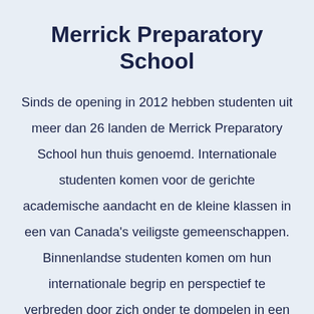Merrick Preparatory School
Sinds de opening in 2012 hebben studenten uit meer dan 26 landen de Merrick Preparatory School hun thuis genoemd. Internationale studenten komen voor de gerichte academische aandacht en de kleine klassen in een van Canada's veiligste gemeenschappen. Binnenlandse studenten komen om hun internationale begrip en perspectief te verbreden door zich onder te dompelen in een echt internationale opleiding met studenten van over de hele wereld. Zowel binnenlandse als internationale